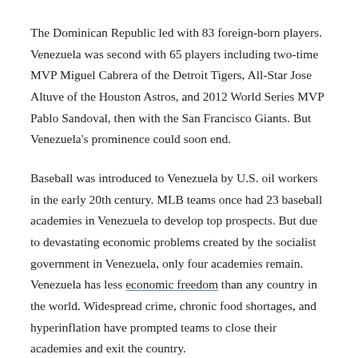The Dominican Republic led with 83 foreign-born players. Venezuela was second with 65 players including two-time MVP Miguel Cabrera of the Detroit Tigers, All-Star Jose Altuve of the Houston Astros, and 2012 World Series MVP Pablo Sandoval, then with the San Francisco Giants. But Venezuela's prominence could soon end.
Baseball was introduced to Venezuela by U.S. oil workers in the early 20th century. MLB teams once had 23 baseball academies in Venezuela to develop top prospects. But due to devastating economic problems created by the socialist government in Venezuela, only four academies remain. Venezuela has less economic freedom than any country in the world. Widespread crime, chronic food shortages, and hyperinflation have prompted teams to close their academies and exit the country.
The departure of baseball academies has hurt local economies and reduced entertainment options for residents – baseball is the national pastime in Venezuela. Closing the academies has also made it more difficult for young prospects to pursue their dreams—the greatest loss of